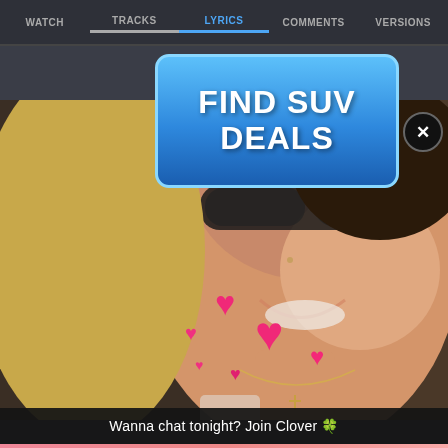WATCH | TRACKS | LYRICS | COMMENTS | VERSIONS
[Figure (screenshot): Advertisement banner for SUV deals with blue gradient background and white bold text reading FIND SUV DEALS]
[Figure (photo): Photo of a smiling woman wearing glasses with heart emoji overlays and text: Wanna chat tonight? Join Clover [clover emoji]]
Wanna chat tonight? Join Clover 🍀